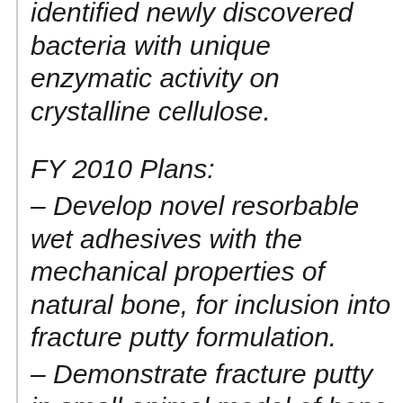identified newly discovered bacteria with unique enzymatic activity on crystalline cellulose.
FY 2010 Plans:
– Develop novel resorbable wet adhesives with the mechanical properties of natural bone, for inclusion into fracture putty formulation.
– Demonstrate fracture putty in small animal model of bone fracture.
– Initiate large animal studies of fracture putty for bone fracture